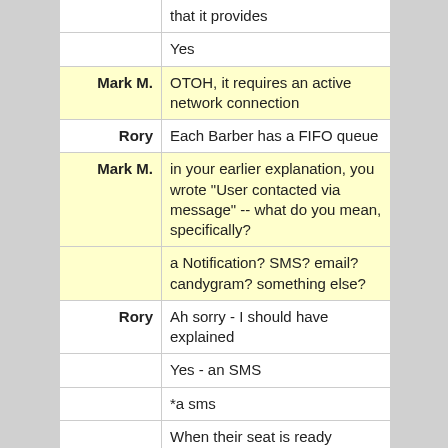|  | that it provides |
|  | Yes |
| Mark M. | OTOH, it requires an active network connection |
| Rory | Each Barber has a FIFO queue |
| Mark M. | in your earlier explanation, you wrote "User contacted via message" -- what do you mean, specifically? |
|  | a Notification? SMS? email? candygram? something else? |
| Rory | Ah sorry - I should have explained |
|  | Yes - an SMS |
|  | *a sms |
|  | When their seat is ready |
| Mark M. | well, that implies a server, as an app cannot readily send an SMS to itself |